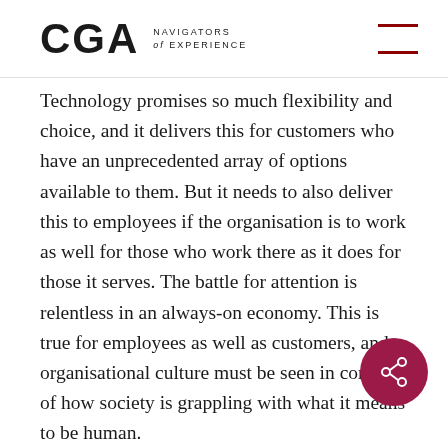CGA NAVIGATORS of EXPERIENCE
Technology promises so much flexibility and choice, and it delivers this for customers who have an unprecedented array of options available to them. But it needs to also deliver this to employees if the organisation is to work as well for those who work there as it does for those it serves. The battle for attention is relentless in an always-on economy. This is true for employees as well as customers, and organisational culture must be seen in context of how society is grappling with what it means to be human.

Your brand must deliver experiences to meet the service level